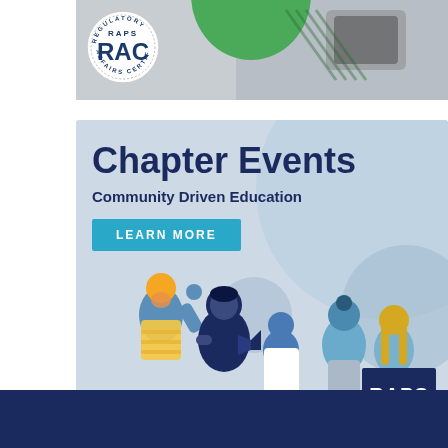[Figure (illustration): RAPS RAC (Regulatory Affairs Certificate) badge/seal logo on a banner with a green circle and a person holding a tablet in the background]
[Figure (illustration): RAPS Chapter Events advertisement banner with light blue background. Text reads 'Chapter Events', 'Community Driven Education', and a 'LEARN MORE' button. Illustrated group of diverse people in the bottom half. RAPS logo in bottom right corner.]